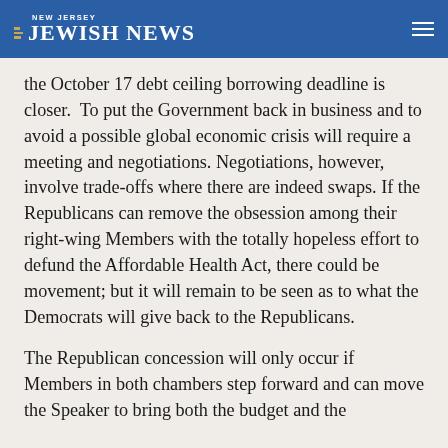NEW JERSEY JEWISH NEWS
the October 17 debt ceiling borrowing deadline is closer.  To put the Government back in business and to avoid a possible global economic crisis will require a meeting and negotiations. Negotiations, however, involve trade-offs where there are indeed swaps. If the Republicans can remove the obsession among their right-wing Members with the totally hopeless effort to defund the Affordable Health Act, there could be movement; but it will remain to be seen as to what the Democrats will give back to the Republicans.
The Republican concession will only occur if Members in both chambers step forward and can move the Speaker to bring both the budget and the